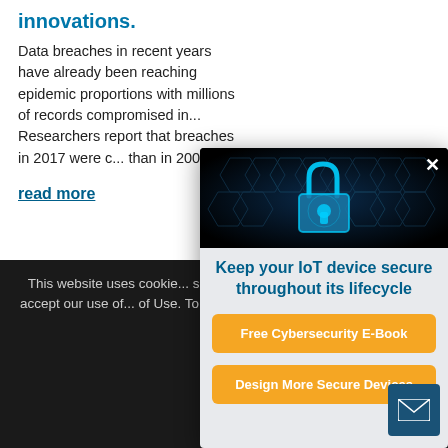innovations.
Data breaches in recent years have already been reaching epidemic proportions with millions of records compromised in... Researchers report that breaches in 2017 were ... than in 2005.
read more
[Figure (photo): Cybersecurity image showing a glowing blue padlock on a dark hexagonal background]
Keep your IoT device secure throughout its lifecycle
Free Cybersecurity E-Book
Design More Secure Devices
This website uses cookies... site and to improve your experience... site, you accept our use of... of Use. To avoid the collection... you can visit this site with
OK